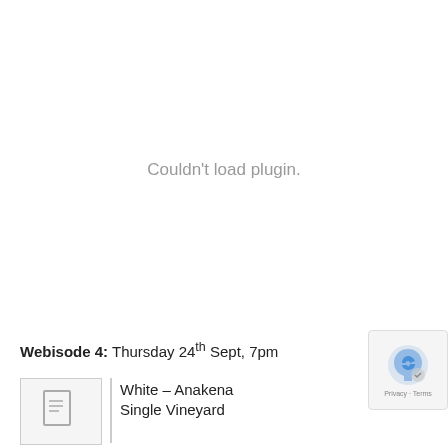Couldn't load plugin.
Webisode 4: Thursday 24th Sept, 7pm
White – Anakena Single Vineyard